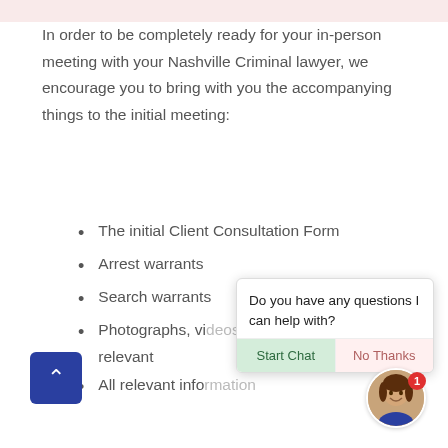In order to be completely ready for your in-person meeting with your Nashville Criminal lawyer, we encourage you to bring with you the accompanying things to the initial meeting:
The initial Client Consultation Form
Arrest warrants
Search warrants
Photographs, vi[deos/sual evidence] relevant
All relevant info[rmation]